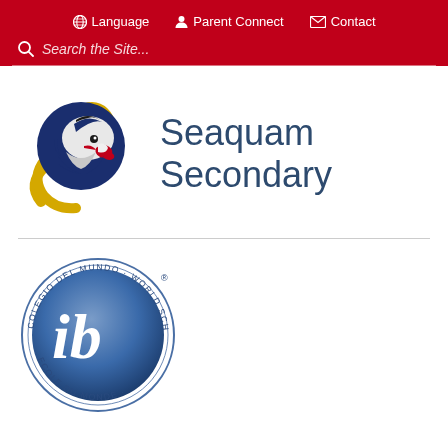Language  Parent Connect  Contact  Search the Site...
[Figure (logo): Seaquam Secondary school logo - eagle head inside stylized 'S' letters in blue and gold]
Seaquam Secondary
[Figure (logo): International Baccalaureate (IB) World School logo - blue circular badge with 'ib' letters and text 'COLEGIO DEL MUNDO · WORLD SCHOOL · ECOLE DU MONDE']